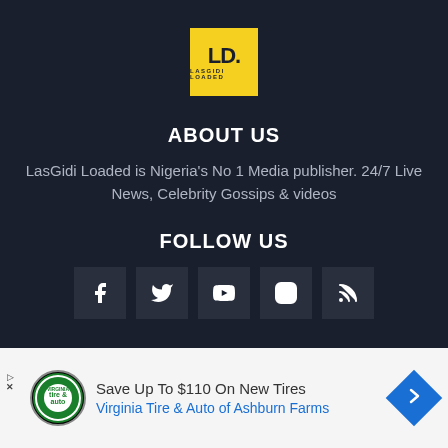[Figure (logo): LasGidi Loaded logo: yellow square with bold 'LD.' letters and 'LASGIDI LOADED' text below]
ABOUT US
LasGidi Loaded is Nigeria's No 1 Media publisher. 24/7 Live News, Celebrity Gossips & videos
FOLLOW US
[Figure (infographic): Social media icons in dark boxes: Facebook, Twitter, YouTube, Instagram, RSS feed]
[Figure (infographic): Advertisement: Tire & Auto logo circle, text 'Save Up To $110 On New Tires' and 'Virginia Tire & Auto of Ashburn Farms' with blue arrow icon]